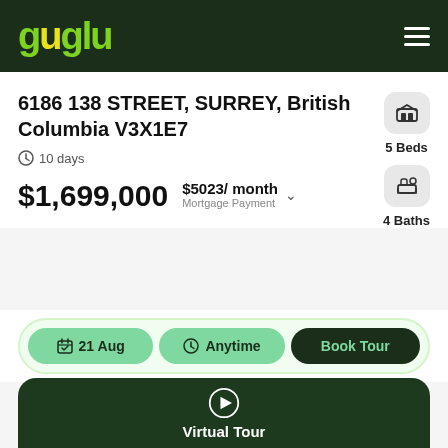[Figure (logo): Guglu real estate logo in green and yellow on dark green header]
6186 138 STREET, SURREY, British Columbia V3X1E7
10 days
$1,699,000
$5023/ month
Mortgage Payment
5 Beds
4 Baths
21 Aug
Anytime
Book Tour
Virtual Tour